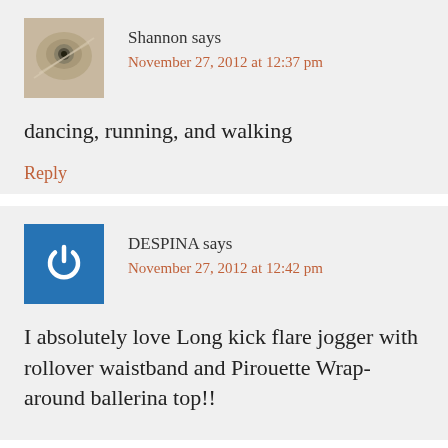[Figure (photo): Avatar photo of Shannon - appears to be an artistic or nature photo]
Shannon says
November 27, 2012 at 12:37 pm
dancing, running, and walking
Reply
[Figure (logo): Blue square with white power button icon - Despina avatar]
DESPINA says
November 27, 2012 at 12:42 pm
I absolutely love Long kick flare jogger with rollover waistband and Pirouette Wrap-around ballerina top!!